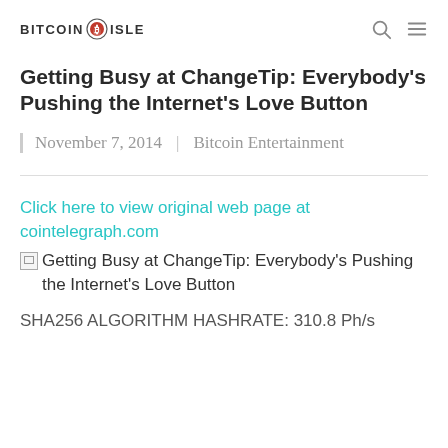BITCOIN ISLE
Getting Busy at ChangeTip: Everybody's Pushing the Internet's Love Button
November 7, 2014 | Bitcoin Entertainment
Click here to view original web page at cointelegraph.com
[Figure (photo): Broken image placeholder with caption: Getting Busy at ChangeTip: Everybody's Pushing the Internet's Love Button]
SHA256 ALGORITHM HASHRATE: 310.8 Ph/s